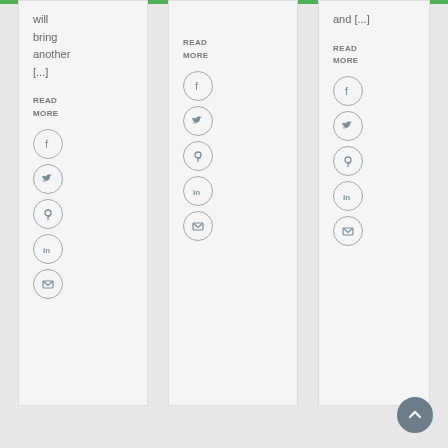will bring another [...]
READ MORE
[Figure (infographic): Social share icons (Facebook, Twitter, Pinterest, LinkedIn, Email) in circular outlines - left card]
READ MORE
[Figure (infographic): Social share icons (Facebook, Twitter, Pinterest, LinkedIn, Email) in circular outlines - middle card]
and [...]
READ MORE
[Figure (infographic): Social share icons (Facebook, Twitter, Pinterest, LinkedIn, Email) in circular outlines - right card]